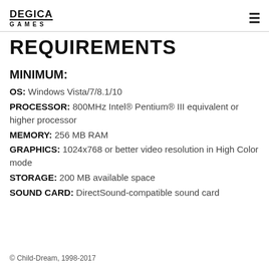DEGICA GAMES
REQUIREMENTS
MINIMUM:
OS: Windows Vista/7/8.1/10
PROCESSOR: 800MHz Intel® Pentium® III equivalent or higher processor
MEMORY: 256 MB RAM
GRAPHICS: 1024x768 or better video resolution in High Color mode
STORAGE: 200 MB available space
SOUND CARD: DirectSound-compatible sound card
© Child-Dream, 1998-2017